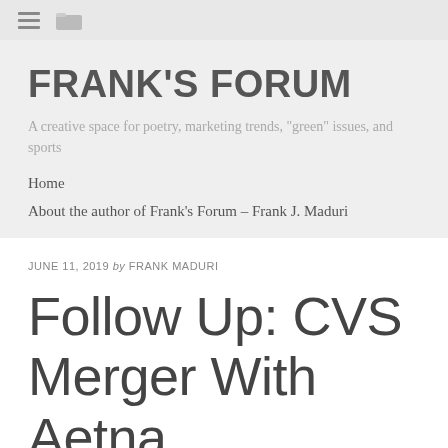≡ [folder icon]
FRANK'S FORUM
A creative space for poetry, marketing trends, "green" issues, and sports
Home
About the author of Frank's Forum – Frank J. Maduri
JUNE 11, 2019 by FRANK MADURI
Follow Up: CVS Merger With Aetna